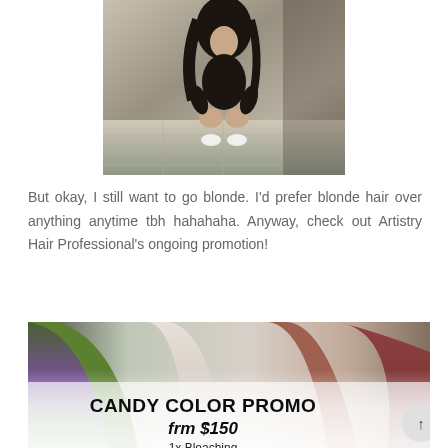[Figure (photo): Photo of a young Asian woman crouching on the ground outdoors, wearing a black outfit and white sneakers, with long dark hair.]
But okay, I still want to go blonde. I'd prefer blonde hair over anything anytime tbh hahahaha. Anyway, check out Artistry Hair Professional's ongoing promotion!
[Figure (photo): Promotional image for Candy Color Promo showing the backs of three women with colorfully dyed hair (green/purple gradient, platinum blonde, and reddish brown). Text overlay reads 'CANDY COLOR PROMO frm $150 1x Bleaching'.]